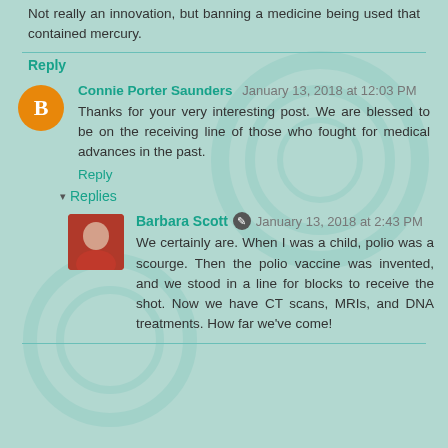Not really an innovation, but banning a medicine being used that contained mercury.
Reply
[Figure (illustration): Orange circle avatar with white letter B (Blogger icon)]
Connie Porter Saunders January 13, 2018 at 12:03 PM
Thanks for your very interesting post. We are blessed to be on the receiving line of those who fought for medical advances in the past.
Reply
Replies
[Figure (photo): Small profile photo of Barbara Scott, a woman with light skin wearing a red top]
Barbara Scott January 13, 2018 at 2:43 PM
We certainly are. When I was a child, polio was a scourge. Then the polio vaccine was invented, and we stood in a line for blocks to receive the shot. Now we have CT scans, MRIs, and DNA treatments. How far we've come!